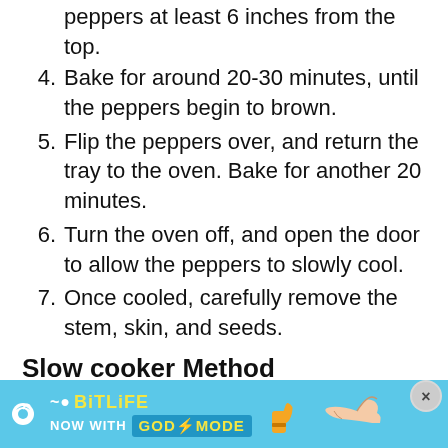peppers at least 6 inches from the top.
4. Bake for around 20-30 minutes, until the peppers begin to brown.
5. Flip the peppers over, and return the tray to the oven. Bake for another 20 minutes.
6. Turn the oven off, and open the door to allow the peppers to slowly cool.
7. Once cooled, carefully remove the stem, skin, and seeds.
Slow cooker Method
1. Place your peppers in a slow cooker. You can optionally add some olive oil
[Figure (other): Advertisement banner for BitLife with 'NOW WITH GOD MODE' text, cyan background with cartoon hand pointing and thumbs up icons]